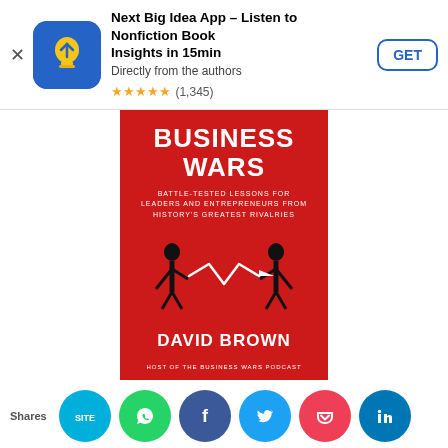[Figure (screenshot): App Store ad banner for Next Big Idea App with icon, title, subtitle, star rating, and GET button]
[Figure (photo): Book cover of 'Business Wars: Battle-Tested Lessons for Leaders and Entrepreneurs from History's Greatest Rivalries' by David Brown]
The Art of Business Wars: Battle-Tested Lessons for Leaders and Entrepreneurs from History's Greatest Rivalries
by David Brown
[Figure (infographic): Social share bar with buttons: site share, WhatsApp, Facebook, Twitter, Pocket, LinkedIn]